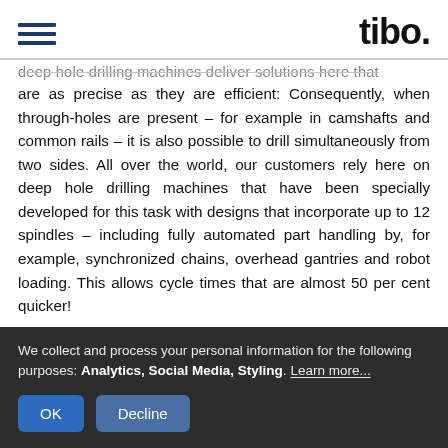tibo.
deep hole drilling machines deliver solutions here that are as precise as they are efficient: Consequently, when through-holes are present – for example in camshafts and common rails – it is also possible to drill simultaneously from two sides. All over the world, our customers rely here on deep hole drilling machines that have been specially developed for this task with designs that incorporate up to 12 spindles – including fully automated part handling by, for example, synchronized chains, overhead gantries and robot loading. This allows cycle times that are almost 50 per cent quicker!
Machine type for this area:
We collect and process your personal information for the following purposes: Analytics, Social Media, Styling. Learn more...